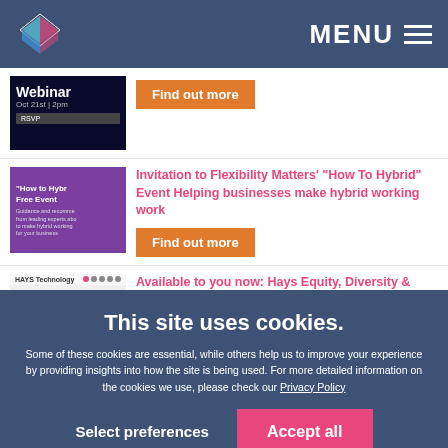MENU
[Figure (screenshot): Webinar thumbnail with dark background showing 'Webinar Oct 21st | 2pm' and RSVP button]
Find out more
[Figure (screenshot): How to Hybrid free event promo image with purple background and woman's photo]
Invitation to Flexibility Matters' "How To Hybrid" Event Helping businesses make hybrid working work
Find out more
[Figure (screenshot): Hays Technology Diversity at Work report thumbnail]
Available to you now: Hays Equity, Diversity & Inclusion Report 2021
This site uses cookies.
Some of these cookies are essential, while others help us to improve your experience by providing insights into how the site is being used. For more detailed information on the cookies we use, please check our Privacy Policy
Select preferences
Accept all